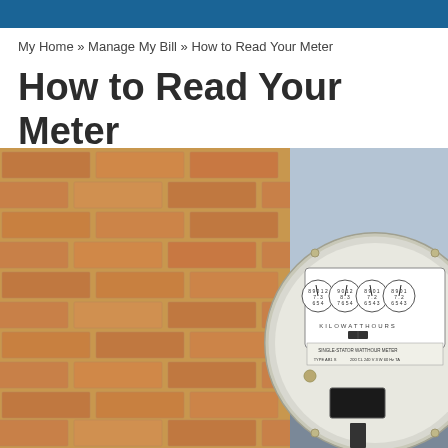My Home » Manage My Bill » How to Read Your Meter
How to Read Your Meter
[Figure (photo): Close-up photograph of an analog electric kilowatt-hour meter mounted on a brick wall. The meter has a circular glass dome with multiple circular dials showing numbers. The meter label reads 'KILOWATTHOURS', 'SINGLE-STATOR WATTHOUR METER', 'TYPE AB1 S', '200 CL 240 V 3 W 60 Hz TA'. Background shows a red brick wall on the left and a light gray/blue wall on the right.]